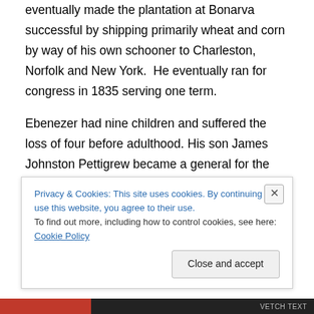eventually made the plantation at Bonarva successful by shipping primarily wheat and corn by way of his own schooner to Charleston, Norfolk and New York.  He eventually ran for congress in 1835 serving one term.
Ebenezer had nine children and suffered the loss of four before adulthood. His son James Johnston Pettigrew became a general for the confederacy during the Civil War and fought at Gettysburg where he was wounded during the charge on Cemetery Ridge. He received a more fatal wound during the withdrawal at Gettysburg and died on
Privacy & Cookies: This site uses cookies. By continuing to use this website, you agree to their use.
To find out more, including how to control cookies, see here: Cookie Policy